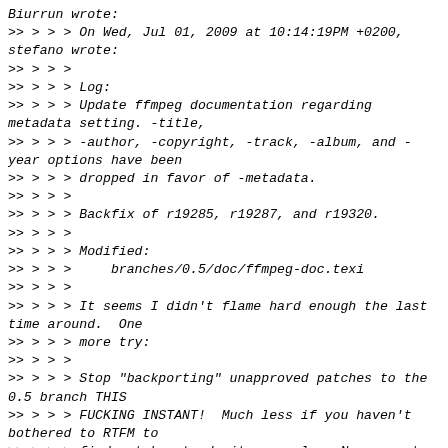Biurrun wrote:
>> > > > On Wed, Jul 01, 2009 at 10:14:19PM +0200, stefano wrote:
>> > > >
>> > > > Log:
>> > > > Update ffmpeg documentation regarding metadata setting. -title,
>> > > > -author, -copyright, -track, -album, and -year options have been
>> > > > dropped in favor of -metadata.
>> > > >
>> > > > Backfix of r19285, r19287, and r19320.
>> > > >
>> > > > Modified:
>> > > >    branches/0.5/doc/ffmpeg-doc.texi
>> > > >
>> > > > It seems I didn't flame hard enough the last time around.  One
>> > > > more try:
>> > > >
>> > > > Stop "backporting" unapproved patches to the 0.5 branch THIS
>> > > > FUCKING INSTANT!  Much less if you haven't bothered to RTFM to
>> > > > find out how to do it properly.  Now revert this mess.
>> >
>> > > Done.
>> > >
>> > > Now, would you be kind enough to explain which